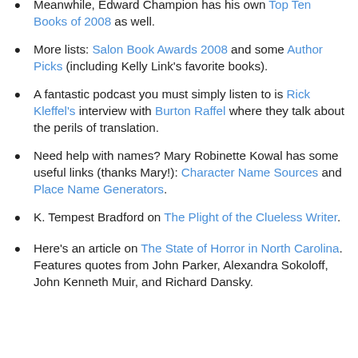Meanwhile, Edward Champion has his own Top Ten Books of 2008 as well.
More lists: Salon Book Awards 2008 and some Author Picks (including Kelly Link's favorite books).
A fantastic podcast you must simply listen to is Rick Kleffel's interview with Burton Raffel where they talk about the perils of translation.
Need help with names? Mary Robinette Kowal has some useful links (thanks Mary!): Character Name Sources and Place Name Generators.
K. Tempest Bradford on The Plight of the Clueless Writer.
Here's an article on The State of Horror in North Carolina. Features quotes from John Parker, Alexandra Sokoloff, John Kenneth Muir, and Richard Dansky.